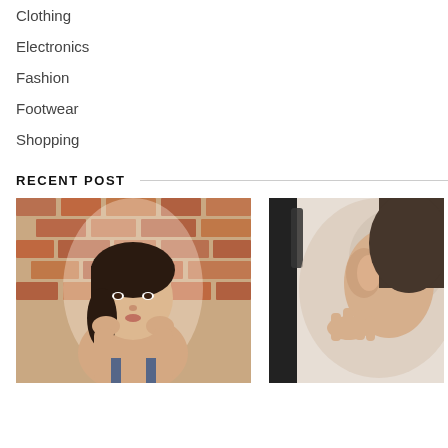Clothing
Electronics
Fashion
Footwear
Shopping
RECENT POST
[Figure (photo): Young woman touching her face looking in a mirror, brick wall background]
[Figure (photo): Partial view of a person's ear and hand near a dark frame, blurred background]